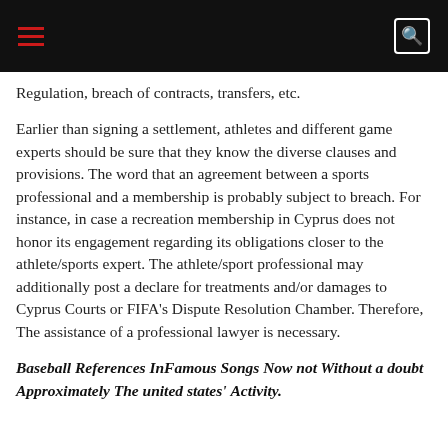[Navigation bar with hamburger menu and search icon]
Regulation, breach of contracts, transfers, etc.
Earlier than signing a settlement, athletes and different game experts should be sure that they know the diverse clauses and provisions. The word that an agreement between a sports professional and a membership is probably subject to breach. For instance, in case a recreation membership in Cyprus does not honor its engagement regarding its obligations closer to the athlete/sports expert. The athlete/sport professional may additionally post a declare for treatments and/or damages to Cyprus Courts or FIFA's Dispute Resolution Chamber. Therefore, The assistance of a professional lawyer is necessary.
Baseball References InFamous Songs Now not Without a doubt Approximately The united states' Activity.